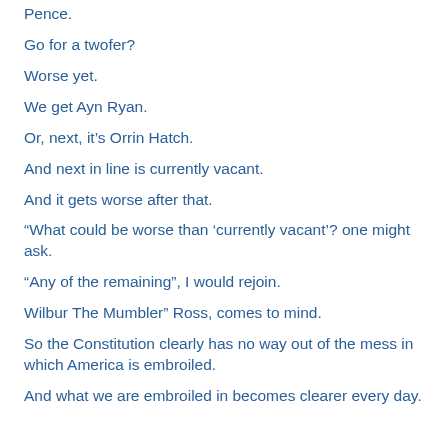Pence.
Go for a twofer?
Worse yet.
We get Ayn Ryan.
Or, next, it's Orrin Hatch.
And next in line is currently vacant.
And it gets worse after that.
“What could be worse than ‘currently vacant’? one might ask.
“Any of the remaining”, I would rejoin.
Wilbur The Mumbler” Ross, comes to mind.
So the Constitution clearly has no way out of the mess in which America is embroiled.
And what we are embroiled in becomes clearer every day.